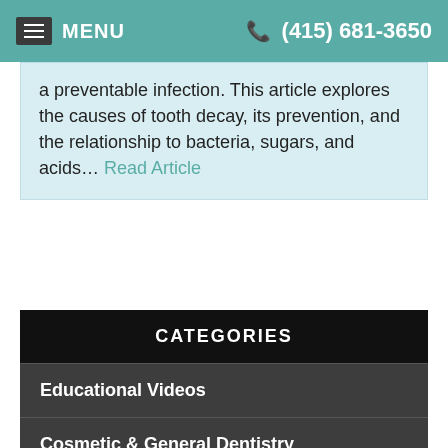MENU  (415) 681-3650
a preventable infection. This article explores the causes of tooth decay, its prevention, and the relationship to bacteria, sugars, and acids... Read Article
CATEGORIES
Educational Videos
Cosmetic & General Dentistry
Emergency Care
Endodontics
Implant Dentistry